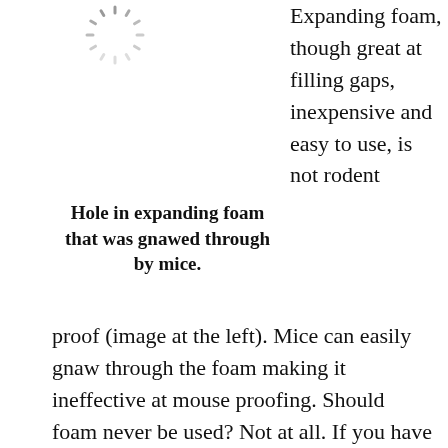[Figure (photo): Loading spinner icon (circular dashed ring) indicating an image is loading]
Expanding foam, though great at filling gaps, inexpensive and easy to use, is not rodent
Hole in expanding foam that was gnawed through by mice.
proof (image at the left). Mice can easily gnaw through the foam making it ineffective at mouse proofing. Should foam never be used? Not at all. If you have a large void that is needs to be filled then expanding foam is a great material to accomplish this in many instances. Just make sure that you protect the foam with something solid to prevent mice from gaining access to the foam. Use aluminum flashing, wood, steel,